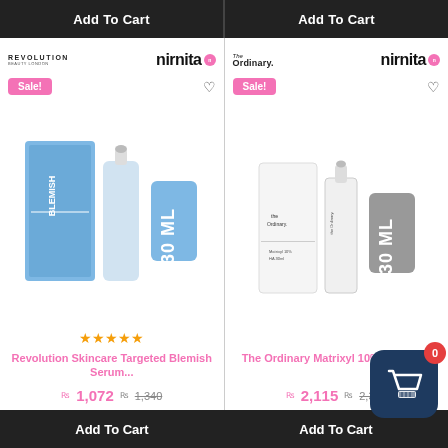[Figure (screenshot): E-commerce product listing page showing two skincare products side by side: Revolution Skincare Targeted Blemish Serum (₨1,072, was ₨1,340) and The Ordinary Matrixyl 10%+HA-30ml (₨2,115, was ₨2,350). Both have Add To Cart buttons, Sale badges, nirnita branding, heart icons, and the Revolution product has 5 stars. A cart icon with badge '0' overlays bottom right.]